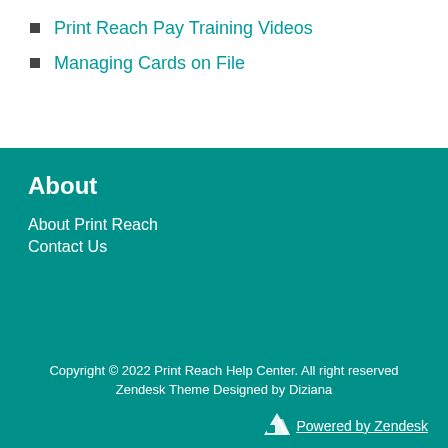Print Reach Pay Training Videos
Managing Cards on File
About
About Print Reach
Contact Us
Copyright © 2022 Print Reach Help Center. All right reserved
Zendesk Theme Designed by Diziana
Powered by Zendesk